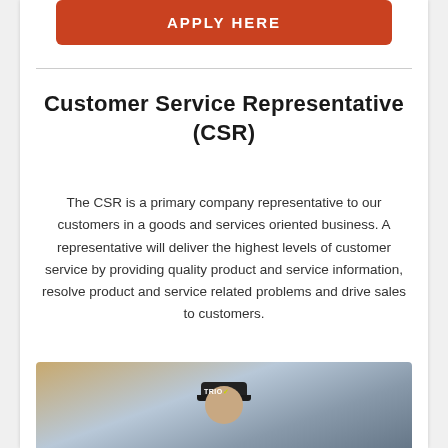[Figure (other): Orange/red rounded button with white bold text 'APPLY HERE']
Customer Service Representative (CSR)
The CSR is a primary company representative to our customers in a goods and services oriented business. A representative will deliver the highest levels of customer service by providing quality product and service information, resolve product and service related problems and drive sales to customers.
[Figure (photo): Photo of a person wearing a dark baseball cap with 'TRIO' logo, against a blurred store background]